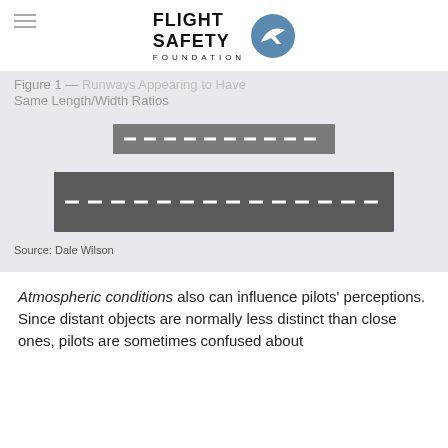[Figure (logo): Flight Safety Foundation logo with circular emblem containing a stylized aircraft on blue background]
Figure 1 — Runways Appearing to Have Same Length/Width Ratios
[Figure (illustration): Two runway diagrams: a smaller narrower runway on top and a larger wider runway below, both with dashed centerlines, illustrating how different sized runways can appear to have the same length/width ratio]
Source: Dale Wilson
Atmospheric conditions also can influence pilots' perceptions. Since distant objects are normally less distinct than close ones, pilots are sometimes confused about